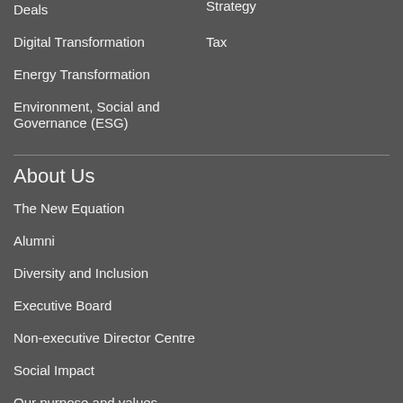Deals
Digital Transformation
Energy Transformation
Environment, Social and Governance (ESG)
Strategy
Tax
About Us
The New Equation
Alumni
Diversity and Inclusion
Executive Board
Non-executive Director Centre
Social Impact
Our purpose and values